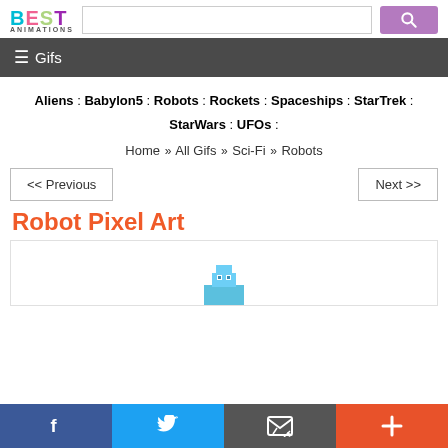BEST ANIMATIONS
☰ Gifs
Aliens : Babylon5 : Robots : Rockets : Spaceships : StarTrek : StarWars : UFOs :
Home >> All Gifs >> Sci-Fi >> Robots
<< Previous    Next >>
Robot Pixel Art
[Figure (illustration): Pixel art robot illustration, partially visible at the bottom of the content area]
f  twitter  email  +